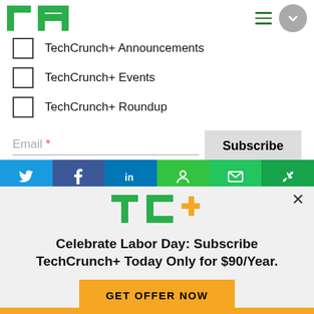TechCrunch header with logo and navigation
TechCrunch+ Announcements (checkbox unchecked)
TechCrunch+ Events (checkbox unchecked)
TechCrunch+ Roundup (checkbox unchecked)
Email *
Subscribe
[Figure (infographic): Social media share buttons bar: Twitter (blue), Facebook (dark blue), LinkedIn (blue), green icons, email icon, link icon on gradient green background]
[Figure (logo): TC+ logo in green with yellow plus sign]
Celebrate Labor Day: Subscribe TechCrunch+ Today Only for $90/Year.
GET OFFER NOW